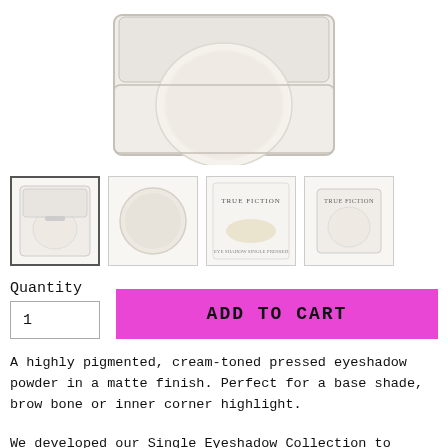[Figure (photo): Main product photo: a cream-toned pressed eyeshadow compact open, showing a round pale cream/off-white powder pan in a clear plastic case, top view, white background.]
[Figure (photo): Thumbnail 1 (selected): eyeshadow compact open, cream powder pan visible, clear plastic case, small size.]
[Figure (photo): Thumbnail 2: Close-up of the round cream-colored eyeshadow pan, no case.]
[Figure (photo): Thumbnail 3: Swatch/texture image with TRUE FICTION branding text.]
[Figure (photo): Thumbnail 4: Front of compact closed/open showing TRUE FICTION label.]
Quantity
1
ADD TO CART
A highly pigmented, cream-toned pressed eyeshadow powder in a matte finish. Perfect for a base shade, brow bone or inner corner highlight.
We developed our Single Eyeshadow Collection to deliver maximum pigment and quality with an efficient range of shades you can use for your everyday - all at a wallet-savvy price. Whether you're looking for a fresh take on everyday basics